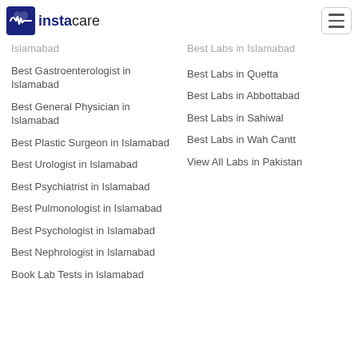[Figure (logo): Instacare logo with heartbeat icon]
Islamabad
Best Gastroenterologist in Islamabad
Best General Physician in Islamabad
Best Plastic Surgeon in Islamabad
Best Urologist in Islamabad
Best Psychiatrist in Islamabad
Best Pulmonologist in Islamabad
Best Psychologist in Islamabad
Best Nephrologist in Islamabad
Book Lab Tests in Islamabad
Best Labs in Quetta
Best Labs in Abbottabad
Best Labs in Sahiwal
Best Labs in Wah Cantt
View All Labs in Pakistan